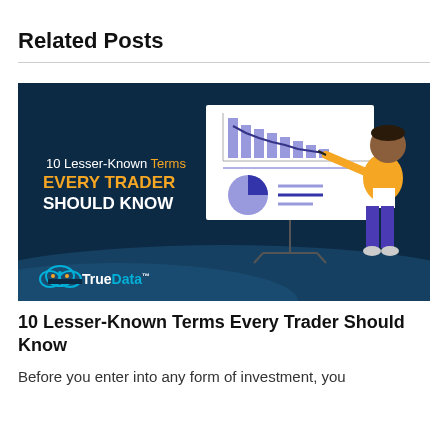Related Posts
[Figure (infographic): Promotional infographic thumbnail for '10 Lesser-Known Terms Every Trader Should Know' by TrueData. Dark navy background with a person in a yellow jacket pointing at a presentation board showing bar and line charts and a pie chart. Text on left reads '10 Lesser-Known Terms EVERY TRADER SHOULD KNOW'. TrueData logo at bottom left.]
10 Lesser-Known Terms Every Trader Should Know
Before you enter into any form of investment, you